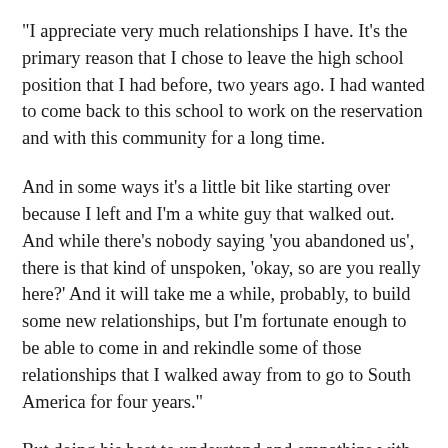"I appreciate very much relationships I have. It's the primary reason that I chose to leave the high school position that I had before, two years ago. I had wanted to come back to this school to work on the reservation and with this community for a long time.
And in some ways it's a little bit like starting over because I left and I'm a white guy that walked out. And while there's nobody saying 'you abandoned us', there is that kind of unspoken, 'okay, so are you really here?' And it will take me a while, probably, to build some new relationships, but I'm fortunate enough to be able to come in and rekindle some of those relationships that I walked away from to go to South America for four years."
But doing his best to understand and empathize with this nuance, Mark says, is what he thinks makes him a better teacher.
"You know, people on the reservation talk about living in two worlds and that's their life. They are of a minority culture living in a dominant cultural world and they can't escape that dominant culture. It's all around them. And they have to be able to operate